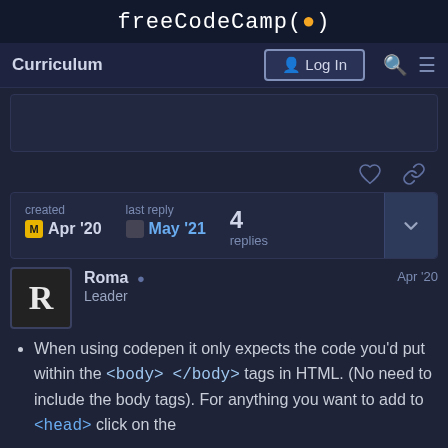freeCodeCamp(🔥)
Curriculum  Log In
created Apr '20   last reply May '21   4 replies
Roma  Leader  Apr '20
When using codepen it only expects the code you'd put within the <body>  </body> tags in HTML. (No need to include the body tags). For anything you want to add to <head> click on the